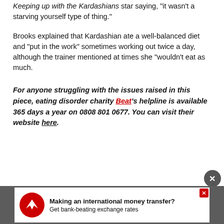Keeping up with the Kardashians star saying, "it wasn't a starving yourself type of thing."
Brooks explained that Kardashian ate a well-balanced diet and "put in the work" sometimes working out twice a day, although the trainer mentioned at times she "wouldn't eat as much.
For anyone struggling with the issues raised in this piece, eating disorder charity Beat's helpline is available 365 days a year on 0808 801 0677. You can visit their website here.
[Figure (other): Advertisement banner at bottom of page: red circular logo with white eagle/bird icon, text 'Making an international money transfer? Get bank-beating exchange rates' on dark grey background. Close buttons visible.]